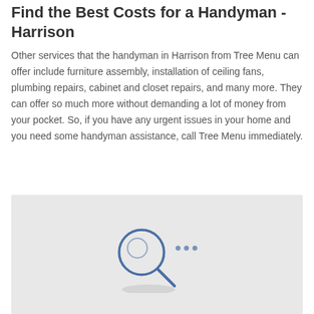Find the Best Costs for a Handyman - Harrison
Other services that the handyman in Harrison from Tree Menu can offer include furniture assembly, installation of ceiling fans, plumbing repairs, cabinet and closet repairs, and many more. They can offer so much more without demanding a lot of money from your pocket. So, if you have any urgent issues in your home and you need some handyman assistance, call Tree Menu immediately.
[Figure (illustration): A light gray map placeholder box containing a blue magnifying glass icon with three dots beside it and an elliptical shadow beneath it, indicating a loading or empty map state.]